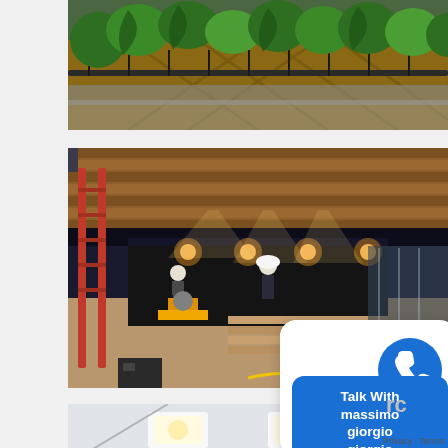[Figure (photo): Photo of a green living wall / vertical garden with lush plants and a wooden paneled wall behind a railing]
[Figure (photo): Interior construction site photo showing workers installing wood plank ceiling, power tools on floor, ladders, and construction materials in a large room with dark walls and accent lighting]
[Figure (photo): Partially visible photo of a room interior showing white ceiling with recessed lighting and light gray walls]
Talk With massimo giorgio giorgio
Privacy · Terms